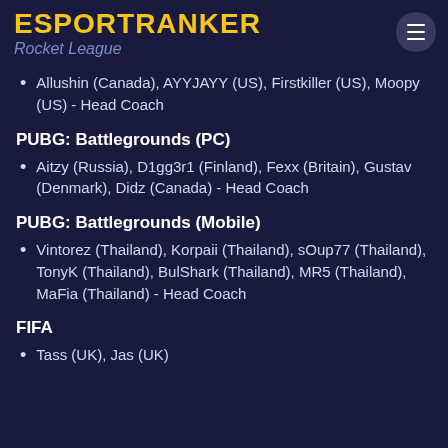ESPORTRANKER
Rocket League
Allushin (Canada), AYYJAYY (US), Firstkiller (US), Moopy (US) - Head Coach
PUBG: Battlegrounds (PC)
Aitzy (Russia), D1gg3r1 (Finland), Fexx (Britain), Gustav (Denmark), Didz (Canada) - Head Coach
PUBG: Battlegrounds (Mobile)
Vintorez (Thailand), Korpaii (Thailand), sOup77 (Thailand), TonyK (Thailand), BulShark (Thailand), MR5 (Thailand), MaFia (Thailand) - Head Coach
FIFA
Tass (UK), Jas (UK)